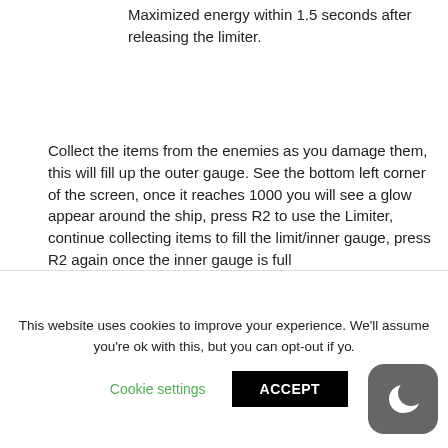Maximized energy within 1.5 seconds after releasing the limiter.
[Figure (illustration): Game icon showing a spaceship with a green glowing circular border on dark background]
Collect the items from the enemies as you damage them, this will fill up the outer gauge. See the bottom left corner of the screen, once it reaches 1000 you will see a glow appear around the ship, press R2 to use the Limiter, continue collecting items to fill the limit/inner gauge, press R2 again once the inner gauge is full
This website uses cookies to improve your experience. We'll assume you're ok with this, but you can opt-out if y...
Cookie settings
ACCEPT